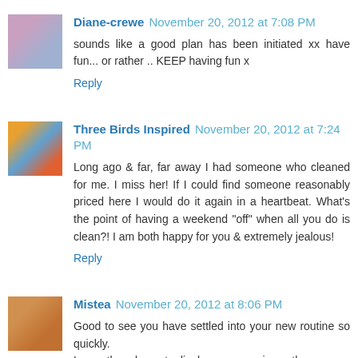[Figure (photo): Avatar photo of Diane-crewe, showing a person in a purple top]
Diane-crewe November 20, 2012 at 7:08 PM
sounds like a good plan has been initiated xx have fun... or rather .. KEEP having fun x
Reply
[Figure (photo): Avatar photo of Three Birds Inspired, showing a colorful portrait]
Three Birds Inspired November 20, 2012 at 7:24 PM
Long ago & far, far away I had someone who cleaned for me. I miss her! If I could find someone reasonably priced here I would do it again in a heartbeat. What's the point of having a weekend "off" when all you do is clean?! I am both happy for you & extremely jealous!
Reply
[Figure (photo): Avatar photo of Mistea, showing a warm-toned portrait]
Mistea November 20, 2012 at 8:06 PM
Good to see you have settled into your new routine so quickly.
Love the dessert display case minus the creepy crawlies